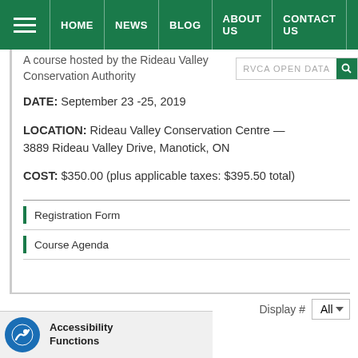HOME | NEWS | BLOG | ABOUT US | CONTACT US | FOUNDATION
A course hosted by the Rideau Valley Conservation Authority
DATE: September 23 -25, 2019
LOCATION: Rideau Valley Conservation Centre — 3889 Rideau Valley Drive, Manotick, ON
COST: $350.00 (plus applicable taxes: $395.50 total)
Registration Form
Course Agenda
Display # All
Accessibility Functions